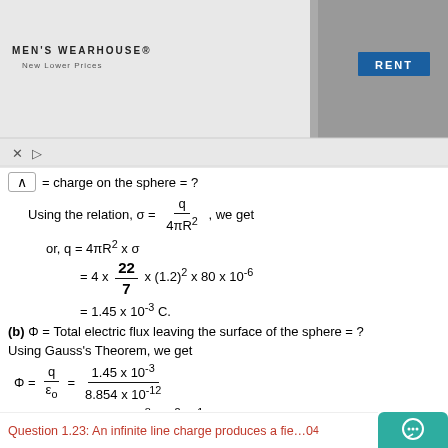[Figure (photo): Men's Wearhouse advertisement banner with couple in formal wear and a man in suit, RENT button, and Men's Wearhouse logo with New Lower Prices text]
= charge on the sphere = ?
(b)  Φ = Total electric flux leaving the surface of the sphere = ?
Using Gauss's Theorem, we get
Question 1.23: An infinite line charge produces a fie...×10⁴